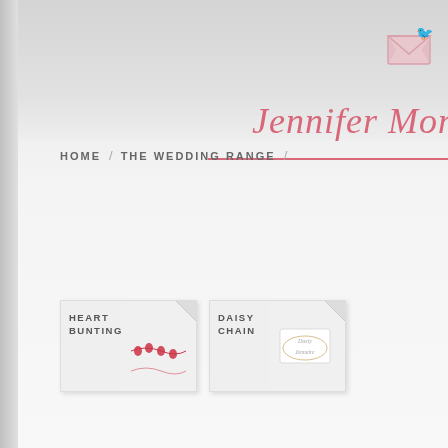Jennifer Mont...
HOME / THE WEDDING RANGE /
[Figure (screenshot): Product card: HEART BUNTING with red heart bunting illustration on folded card]
[Figure (screenshot): Product card: DAISY CHAIN with daisy chain illustration on folded card]